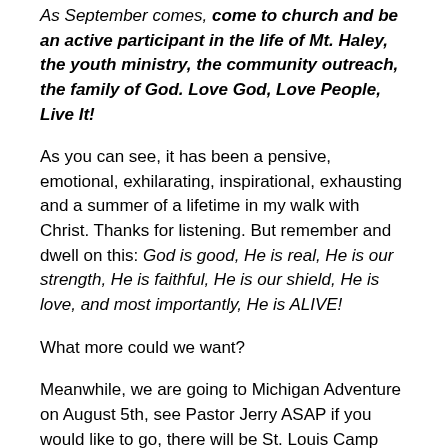As September comes, come to church and be an active participant in the life of Mt. Haley, the youth ministry, the community outreach, the family of God. Love God, Love People, Live It!
As you can see, it has been a pensive, emotional, exhilarating, inspirational, exhausting and a summer of a lifetime in my walk with Christ. Thanks for listening. But remember and dwell on this: God is good, He is real, He is our strength, He is faithful, He is our shield, He is love, and most importantly, He is ALIVE!
What more could we want?
Meanwhile, we are going to Michigan Adventure on August 5th, see Pastor Jerry ASAP if you would like to go, there will be St. Louis Camp Meeting (with ice cream one night) a concert in Ithaca, and perhaps another quick activity. Labor